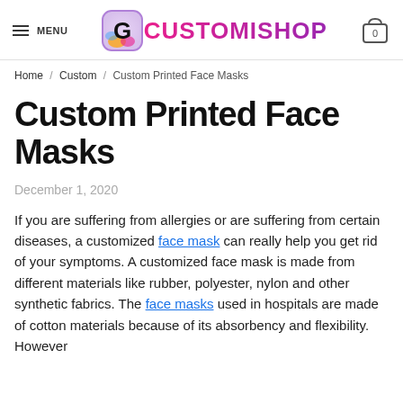MENU | CUSTOMISHOP | 0
Home / Custom / Custom Printed Face Masks
Custom Printed Face Masks
December 1, 2020
If you are suffering from allergies or are suffering from certain diseases, a customized face mask can really help you get rid of your symptoms. A customized face mask is made from different materials like rubber, polyester, nylon and other synthetic fabrics. The face masks used in hospitals are made of cotton materials because of its absorbency and flexibility. However